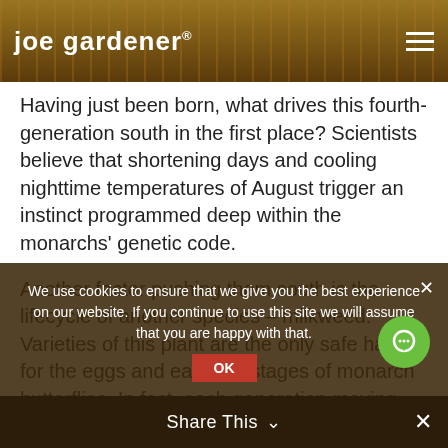joe gardener®
Having just been born, what drives this fourth-generation south in the first place? Scientists believe that shortening days and cooling nighttime temperatures of August trigger an instinct programmed deep within the monarchs' genetic code.
Another factor pushing them south is the lifecycle of another species – milkweed. Varieties of this plant are the only safe harbor for the eggs and early life stages of monarch butterflies. In fact, each generation moving north was following the emergence and
We use cookies to ensure that we give you the best experience on our website. If you continue to use this site we will assume that you are happy with that.
Share This